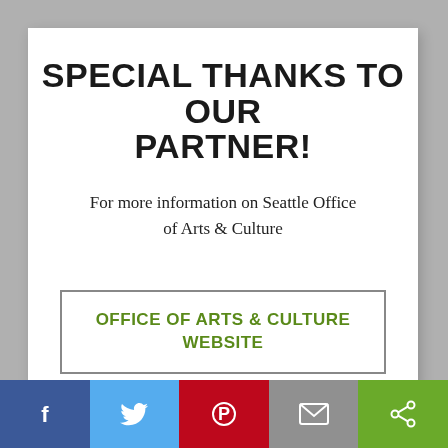SPECIAL THANKS TO OUR PARTNER!
For more information on Seattle Office of Arts & Culture
OFFICE OF ARTS & CULTURE WEBSITE
Social sharing bar: Facebook, Twitter, Pinterest, Email, Share